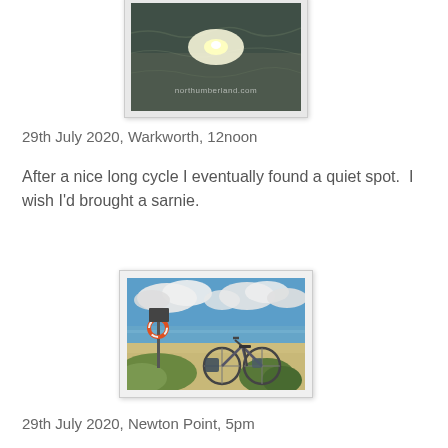[Figure (photo): Underwater or reflective water surface photo showing sunlight through rippled water, with watermark text 'northumberland.com']
29th July 2020, Warkworth, 12noon
After a nice long cycle I eventually found a quiet spot.  I wish I'd brought a sarnie.
[Figure (photo): Photo of a bicycle parked near a beach with a life-ring post, blue sky with white clouds, sandy beach and sea in the background, green grass/dunes in foreground]
29th July 2020, Newton Point, 5pm